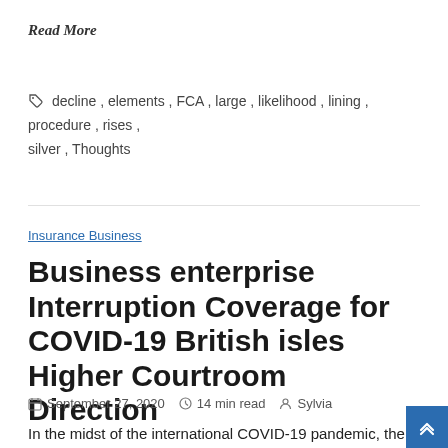Read More
decline, elements, FCA, large, likelihood, lining, procedure, rises, silver, Thoughts
Insurance Business
Business enterprise Interruption Coverage for COVID-19 British isles Higher Courtroom Direction
September 27, 2020  14 min read  Sylvia
In the midst of the international COVID-19 pandemic, the